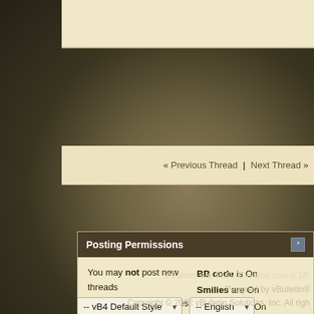« Previous Thread | Next Thread »
Posting Permissions
You may not post new threads
You may not post replies
You may not post attachments
You may not edit your posts
BB code is On
Smilies are On
[IMG] code is On
[VIDEO] code is On
HTML code is Off
Forum Rules
All times are GMT. The time now is 16:...
Powered by vBulletin®
Copyright © 2022 vBulletin Solutions, Inc. All righ...